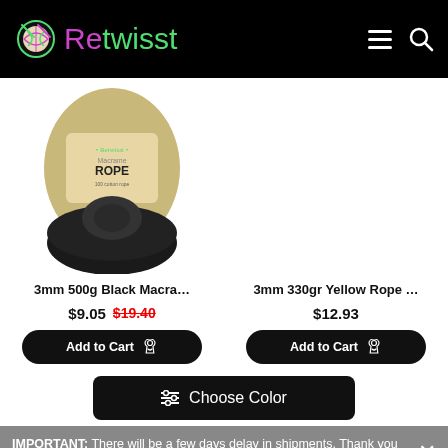Retwisst — navigation header with logo, menu and search icons
[Figure (photo): Black macrame rope spool with kraft-paper label reading 'Retwisst Macrame ROPE']
3mm 500g Black Macra…
$9.05  $19.40
Add to Cart
3mm 330gr Yellow Rope …
$12.93
Add to Cart
≡  Choose Color
IMPORTANT: There will be a few days delay in shipments. Thank you for your understanding.